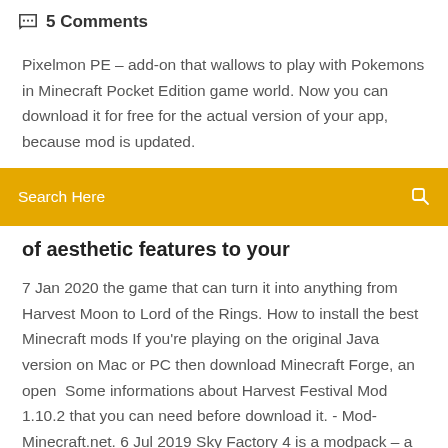5 Comments
Pixelmon PE – add-on that wallows to play with Pokemons in Minecraft Pocket Edition game world. Now you can download it for free for the actual version of your app, because mod is updated.
Search Here
of aesthetic features to your
7 Jan 2020 the game that can turn it into anything from Harvest Moon to Lord of the Rings. How to install the best Minecraft mods If you're playing on the original Java version on Mac or PC then download Minecraft Forge, an open  Some informations about Harvest Festival Mod 1.10.2 that you can need before download it. - Mod-Minecraft.net. 6 Jul 2019 Sky Factory 4 is a modpack – a pack of Minecraft Java edition mods The original – along with its successors – has been downloaded millions of